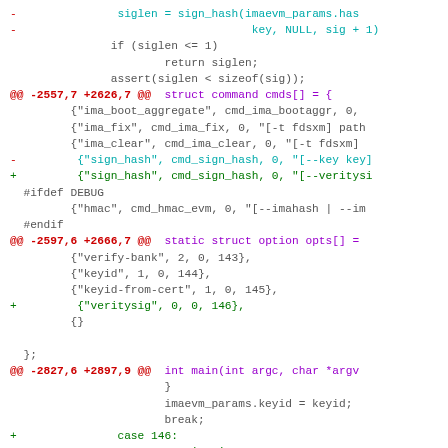[Figure (screenshot): Git diff code patch showing changes to a C source file, with removed lines in red, added lines in green, hunk headers in red/purple, and context lines in gray/cyan.]